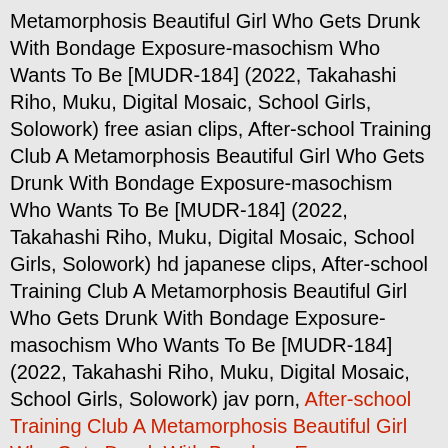Metamorphosis Beautiful Girl Who Gets Drunk With Bondage Exposure-masochism Who Wants To Be [MUDR-184] (2022, Takahashi Riho, Muku, Digital Mosaic, School Girls, Solowork) free asian clips, After-school Training Club A Metamorphosis Beautiful Girl Who Gets Drunk With Bondage Exposure-masochism Who Wants To Be [MUDR-184] (2022, Takahashi Riho, Muku, Digital Mosaic, School Girls, Solowork) hd japanese clips, After-school Training Club A Metamorphosis Beautiful Girl Who Gets Drunk With Bondage Exposure-masochism Who Wants To Be [MUDR-184] (2022, Takahashi Riho, Muku, Digital Mosaic, School Girls, Solowork) jav porn, After-school Training Club A Metamorphosis Beautiful Girl Who Gets Drunk With Bondage Exposure-masochism Who Wants To Be [MUDR-184] (2022, Takahashi Riho, Muku, Digital Mosaic, School Girls, Solowork) japanese hardcore, After-school Training Club A Metamorphosis Beautiful Girl Who Gets Drunk With Bondage Exposure-masochism Who Wants To Be [MUDR-184] (2022, Takahashi Riho, Muku, Digital Mosaic, School Girls, Solowork) asian hd video,After-school Training Club A Metamorphosis Beautiful Girl Who Gets Drunk With Bondage Exposure-masochism Who Wants To Be [MUDR-184] (2022, Takahashi Riho, Muku, Digital Mosaic, School Girls, Solowork) hd japanese xxx, After-school Training Club A Metamorphosis Beautiful Girl Who Gets Drunk With Bondage Exposure-masochism Who Wants To Be [MUDR-184] (2022, Takahashi Riho, Muku, Digital Mosaic, School Girls, Solowork)